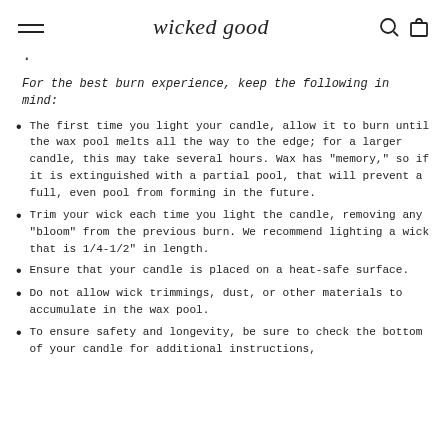wicked good
.
For the best burn experience, keep the following in mind:
The first time you light your candle, allow it to burn until the wax pool melts all the way to the edge; for a larger candle, this may take several hours. Wax has "memory," so if it is extinguished with a partial pool, that will prevent a full, even pool from forming in the future.
Trim your wick each time you light the candle, removing any "bloom" from the previous burn. We recommend lighting a wick that is 1/4-1/2" in length.
Ensure that your candle is placed on a heat-safe surface.
Do not allow wick trimmings, dust, or other materials to accumulate in the wax pool.
To ensure safety and longevity, be sure to check the bottom of your candle for additional instructions,